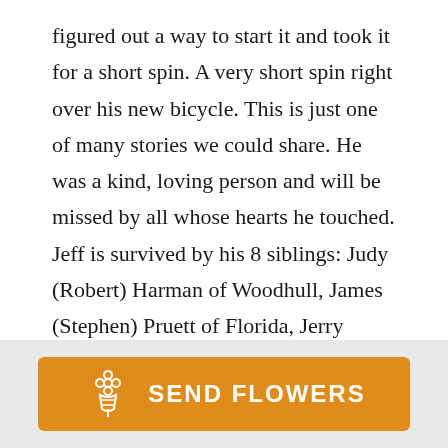figured out a way to start it and took it for a short spin. A very short spin right over his new bicycle. This is just one of many stories we could share. He was a kind, loving person and will be missed by all whose hearts he touched. Jeff is survived by his 8 siblings: Judy (Robert) Harman of Woodhull, James (Stephen) Pruett of Florida, Jerry (Joan) Pruett of Woodhull, Janice Litton of Woodhull, J. (Walt) Pruett of Colorado, June (Dave) Luciani of Colona, Jacqueline Pruett of Peoria, Tammy (Randy) Bertrand of Arizona; and many nieces and nephews, cousins, and friends.
[Figure (other): Orange button with flower bouquet icon and text SEND FLOWERS]